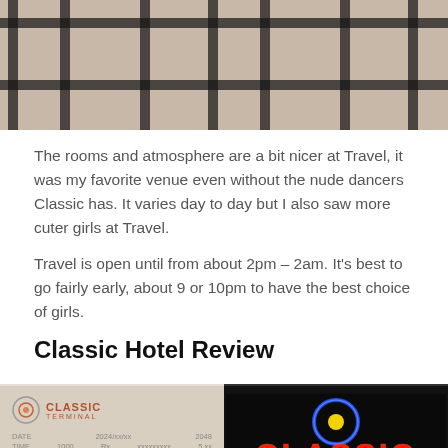[Figure (photo): Close-up photo of granite tile floor with black metal luggage rack or grid structure on top]
The rooms and atmosphere are a bit nicer at Travel, it was my favorite venue even without the nude dancers Classic has. It varies day to day but I also saw more cuter girls at Travel.
Travel is open until from about 2pm – 2am. It's best to go fairly early, about 9 or 10pm to have the best choice of girls.
Classic Hotel Review
[Figure (photo): Two photos side by side: left shows a Classic Terminal receipt/card with logo; right shows a Classic Hotel neon sign lit up in red and blue at night]